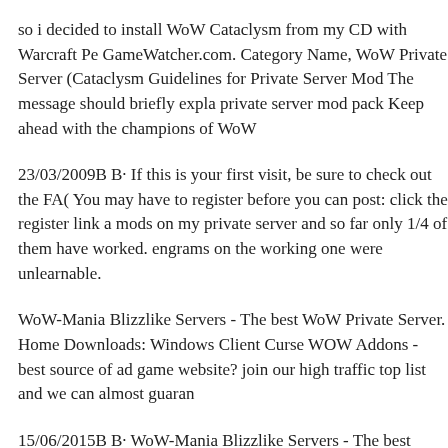so i decided to install WoW Cataclysm from my CD with Warcraft Pe GameWatcher.com. Category Name, WoW Private Server (Cataclysm Guidelines for Private Server Mod The message should briefly expla private server mod pack Keep ahead with the champions of WoW
23/03/2009B B· If this is your first visit, be sure to check out the FA( You may have to register before you can post: click the register link a mods on my private server and so far only 1/4 of them have worked. engrams on the working one were unlearnable.
WoW-Mania Blizzlike Servers - The best WoW Private Server. Home Downloads: Windows Client Curse WOW Addons - best source of ad game website? join our high traffic top list and we can almost guaran
15/06/2015B B· WoW-Mania Blizzlike Servers - The best WoW Priv 4-3-0-Addon-List follow the link for level 80 add ons! scroll down th (As the one that host the server) cant find out how to install the mods Also im about to host my on private server вЂ¦